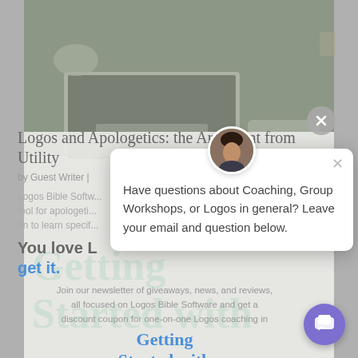[Figure (photo): Background photo of a desk with a laptop, coffee cup, plant, and phone, dimmed/greyed out]
Logos and Apologetics: the Argument from Utility
by Guest Writer |
Logos Bible Software... tool for apologeti... on to learn specif...
You love L
get it.
Join our newsletter of giveaways, news, and reviews, all focused on Logos Bible Software and get a discount coupon for one-on-one Logos coaching in
Getting Started with
[Figure (photo): Chat popup with avatar photo of a man, close button, and message text: Have questions about Coaching, Group Workshops, or Logos in general? Leave your email and question below.]
Have questions about Coaching, Group Workshops, or Logos in general? Leave your email and question below.